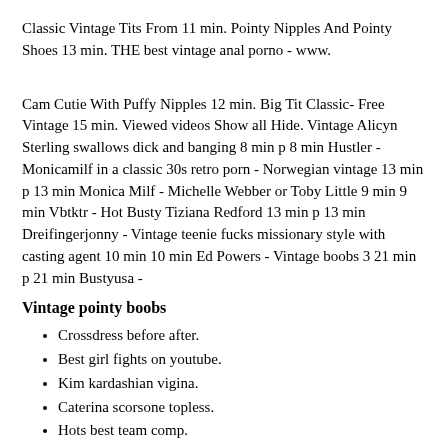Classic Vintage Tits From 11 min. Pointy Nipples And Pointy Shoes 13 min. THE best vintage anal porno - www.
Cam Cutie With Puffy Nipples 12 min. Big Tit Classic- Free Vintage 15 min. Viewed videos Show all Hide. Vintage Alicyn Sterling swallows dick and banging 8 min p 8 min Hustler - Monicamilf in a classic 30s retro porn - Norwegian vintage 13 min p 13 min Monica Milf - Michelle Webber or Toby Little 9 min 9 min Vbtktr - Hot Busty Tiziana Redford 13 min p 13 min Dreifingerjonny - Vintage teenie fucks missionary style with casting agent 10 min 10 min Ed Powers - Vintage boobs 3 21 min p 21 min Bustyusa -
Vintage pointy boobs
Crossdress before after.
Best girl fights on youtube.
Kim kardashian vigina.
Caterina scorsone topless.
Hots best team comp.
What does chorg mean.
Is christina aguilera lesbian.
Holly michaels height.